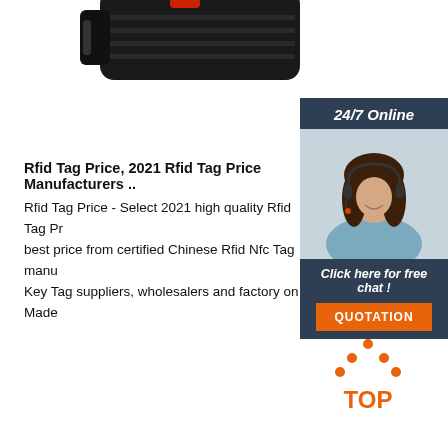[Figure (photo): Close-up of a black RFID tag/device with red accent, partially cropped at top of page]
[Figure (infographic): 24/7 Online chat widget with woman wearing headset, 'Click here for free chat!' text and orange QUOTATION button]
Rfid Tag Price, 2021 Rfid Tag Price Manufacturers ..
Rfid Tag Price - Select 2021 high quality Rfid Tag Pr best price from certified Chinese Rfid Nfc Tag manu Key Tag suppliers, wholesalers and factory on Made
[Figure (other): Orange 'Get Price' button]
[Figure (logo): Orange dotted triangle 'TOP' logo at bottom right]